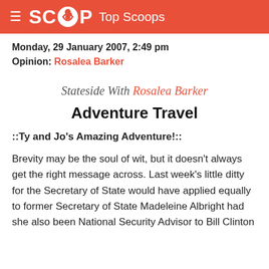SCOOP Top Scoops
Monday, 29 January 2007, 2:49 pm
Opinion: Rosalea Barker
Stateside With Rosalea Barker
Adventure Travel
::Ty and Jo's Amazing Adventure!::
Brevity may be the soul of wit, but it doesn't always get the right message across. Last week's little ditty for the Secretary of State would have applied equally to former Secretary of State Madeleine Albright had she also been National Security Advisor to Bill Clinton